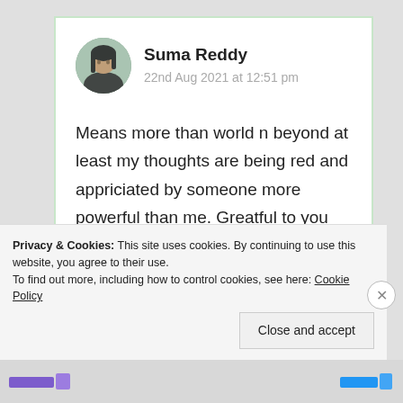[Figure (photo): Circular avatar photo of a young woman with long dark hair, outdoors background]
Suma Reddy
22nd Aug 2021 at 12:51 pm
Means more than world n beyond at least my thoughts are being red and appriciated by someone more powerful than me. Greatful to you dearest ❤️🙏🙏
Privacy & Cookies: This site uses cookies. By continuing to use this website, you agree to their use.
To find out more, including how to control cookies, see here: Cookie Policy
Close and accept